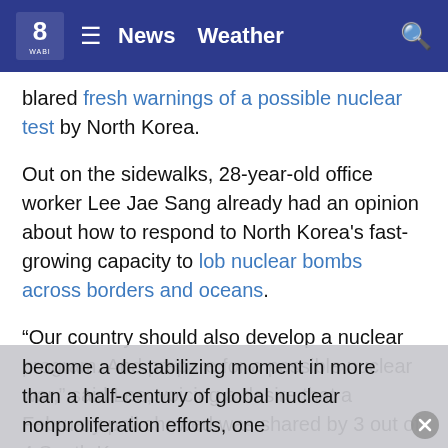WABI — News   Weather
blared fresh warnings of a possible nuclear test by North Korea.
Out on the sidewalks, 28-year-old office worker Lee Jae Sang already had an opinion about how to respond to North Korea's fast-growing capacity to lob nuclear bombs across borders and oceans.
“Our country should also develop a nuclear program. And prepare for a possible nuclear war,” said Lee, voicing a desire that a February poll showed was shared by 3 out of 4 South Koreans.
It’s a point that people and politicians of non-nuclear powers globally are raising more often, at what has become a destabilizing moment in more than a half-century of global nuclear nonproliferation efforts, one